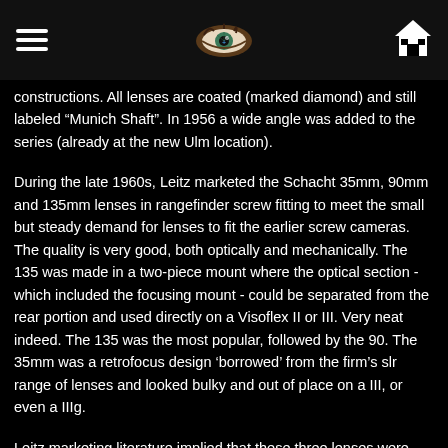[hamburger menu] [eye logo] [home icon]
constructions. All lenses are coated (marked diamond) and still labeled “Munich Shaft”. In 1956 a wide angle was added to the series (already at the new Ulm location).
During the late 1960s, Leitz marketed the Schacht 35mm, 90mm and 135mm lenses in rangefinder screw fitting to meet the small but steady demand for lenses to fit the earlier screw cameras. The quality is very good, both optically and mechanically. The 135 was made in a two-piece mount where the optical section - which included the focusing mount - could be separated from the rear portion and used directly on a Visoflex II or III. Very neat indeed. The 135 was the most popular, followed by the 90. The 35mm was a retrofocus design 'borrowed' from the firm's slr range of lenses and looked bulky and out of place on a III, or even a IIIg.
Leitz marketing literature implied that these three lenses were required to meet standards laid down by themselves, but how far this was true I can't say. What I do say is that if the lens you get is one of this family and in good condition you'll find nothing to complain about in the context of 1960s optics.
Most Schacht lenses are 4 lens constructions...